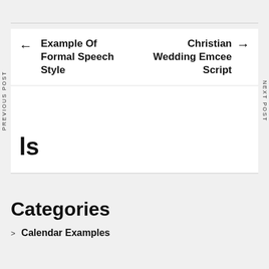← Example Of Formal Speech Style
Christian Wedding Emcee Script →
PREVIOUS POST
NEXT POST
ls
Categories
Calendar Examples